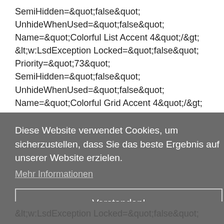SemiHidden="false" UnhideWhenUsed="false" Name="Colorful List Accent 4"/> <w:LsdException Locked="false" Priority="73" SemiHidden="false" UnhideWhenUsed="false" Name="Colorful Grid Accent 4"/> <w:LsdException Locked="false"
Diese Website verwendet Cookies, um sicherzustellen, dass Sie das beste Ergebnis auf unserer Website erzielen. Mehr Informationen
Verstanden!
&lt;w:LsdException Locked=&quot;false&quot;